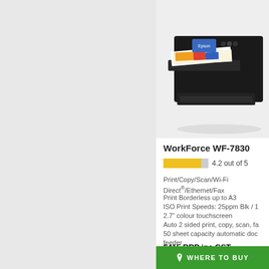[Figure (photo): Epson WorkForce WF-7830 printer shown from front-right angle, with paper tray extended and printed sheets visible, black body]
WorkForce WF-7830
4.2 out of 5
Print/Copy/Scan/Wi-Fi Direct®/Ethernet/Fax
Print Borderless up to A3
ISO Print Speeds: 25ppm Blk / 1
2.7" colour touchscreen
Auto 2 sided print, copy, scan, fa
50 sheet capacity automatic doc feeder
500 sheet paper capacity
Scan to cloud
$415 RRP inc GST
WHERE TO BUY